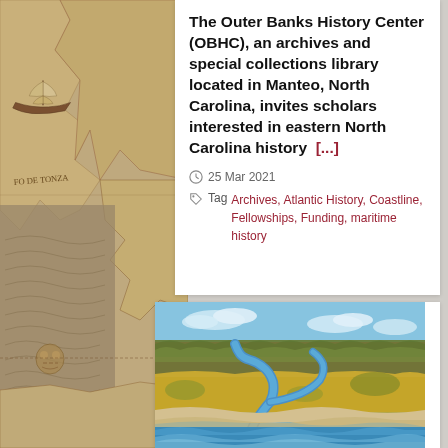[Figure (illustration): Antique maritime map illustration in sepia/brown tones showing coastlines, a sailing ship, text 'FO DE TONZA', 'TAR DEL SVD' and decorative cartographic elements]
The Outer Banks History Center (OBHC), an archives and special collections library located in Manteo, North Carolina, invites scholars interested in eastern North Carolina history  [...]
25 Mar 2021
Tag Archives, Atlantic History, Coastline, Fellowships, Funding, maritime history
[Figure (photo): Aerial photograph of a North Carolina coastal landscape showing a winding blue river/creek through golden marshland and forest, meeting a sandy beach with ocean waves]